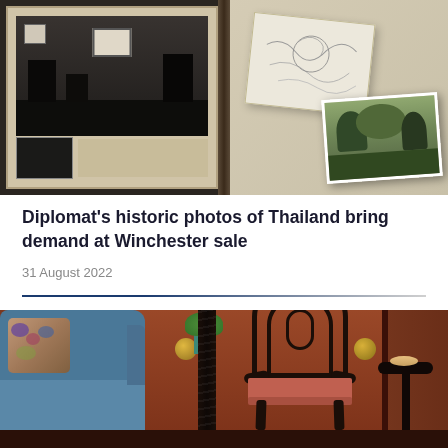[Figure (photo): Old black-and-white photographs in an album showing an interior room scene with furniture, alongside sketches and a nature photograph]
Diplomat's historic photos of Thailand bring demand at Winchester sale
31 August 2022
[Figure (photo): Interior room with a blue upholstered sofa with floral cushion, ornate dark wood Chippendale-style armchair with pink seat, tall pedestal stand, small side table, plant in teal vase, against rich mahogany wood panelling and red damask wallpaper]